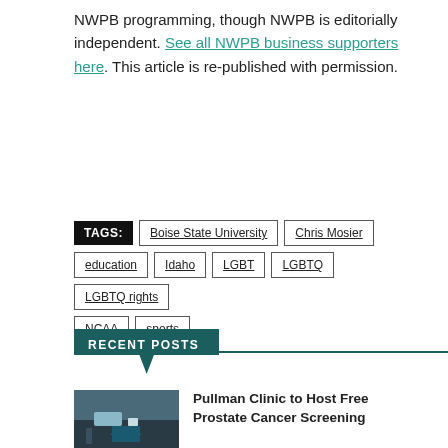NWPB programming, though NWPB is editorially independent. See all NWPB business supporters here. This article is re-published with permission.
TAGS: Boise State University | Chris Mosier | education | Idaho | LGBT | LGBTQ | LGBTQ rights | NCAA | sports
RECENT POSTS
Pullman Clinic to Host Free Prostate Cancer Screening